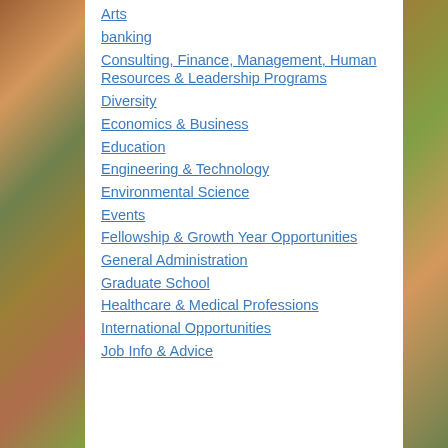Arts
banking
Consulting, Finance, Management, Human Resources & Leadership Programs
Diversity
Economics & Business
Education
Engineering & Technology
Environmental Science
Events
Fellowship & Growth Year Opportunities
General Administration
Graduate School
Healthcare & Medical Professions
International Opportunities
Job Info & Advice